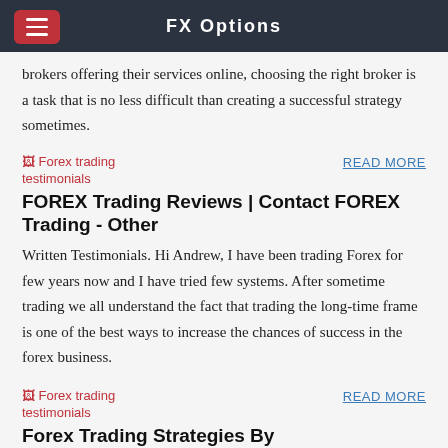FX Options
brokers offering their services online, choosing the right broker is a task that is no less difficult than creating a successful strategy sometimes.
[Figure (other): Broken image placeholder labeled 'Forex trading testimonials']
READ MORE
FOREX Trading Reviews | Contact FOREX Trading - Other
Written Testimonials. Hi Andrew, I have been trading Forex for few years now and I have tried few systems. After sometime trading we all understand the fact that trading the long-time frame is one of the best ways to increase the chances of success in the forex business.
[Figure (other): Broken image placeholder labeled 'Forex trading testimonials']
READ MORE
Forex Trading Strategies By